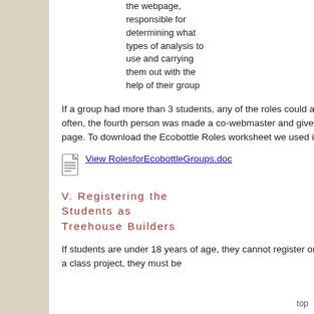the webpage, responsible for determining what types of analysis to use and carrying them out with the help of their group
If a group had more than 3 students, any of the roles could accomodate an additional person - often, the fourth person was made a co-webmaster and given responsibility for part of the final page. To download the Ecobottle Roles worksheet we used in Word format, click below.
[Figure (other): Document icon with link to View RolesforEcobottleGroups.doc]
V. Registering the Students as Treehouse Builders
If students are under 18 years of age, they cannot register on the site with their own emails - to do a class project, they must be